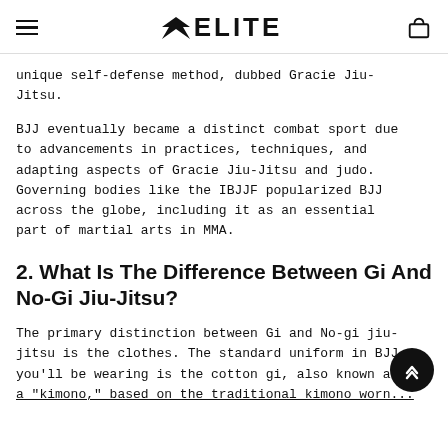ELITE
unique self-defense method, dubbed Gracie Jiu-Jitsu.
BJJ eventually became a distinct combat sport due to advancements in practices, techniques, and adapting aspects of Gracie Jiu-Jitsu and judo. Governing bodies like the IBJJF popularized BJJ across the globe, including it as an essential part of martial arts in MMA.
2. What Is The Difference Between Gi And No-Gi Jiu-Jitsu?
The primary distinction between Gi and No-gi jiu-jitsu is the clothes. The standard uniform in BJJ you'll be wearing is the cotton gi, also known as a "kimono," based on the traditional kimono worn...